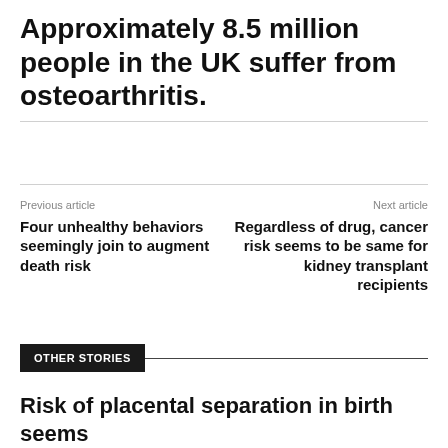Approximately 8.5 million people in the UK suffer from osteoarthritis.
Previous article
Four unhealthy behaviors seemingly join to augment death risk
Next article
Regardless of drug, cancer risk seems to be same for kidney transplant recipients
OTHER STORIES
Risk of placental separation in birth seems